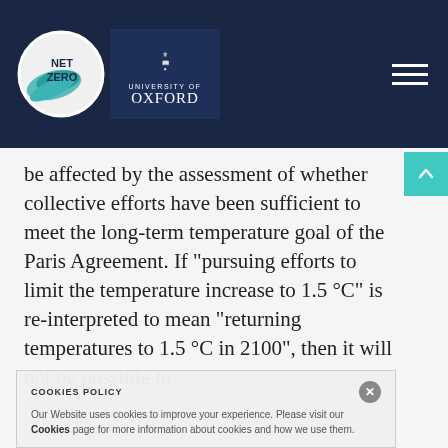[Figure (logo): Net Zero Oxford University header logo with navigation hamburger menu on dark navy background]
be affected by the assessment of whether collective efforts have been sufficient to meet the long-term temperature goal of the Paris Agreement. If “pursuing efforts to limit the temperature increase to 1.5 °C” is re-interpreted to mean “returning temperatures to 1.5 °C in 2100”, then it will not be possible to
COOKIES POLICY
Our Website uses cookies to improve your experience. Please visit our Cookies page for more information about cookies and how we use them.